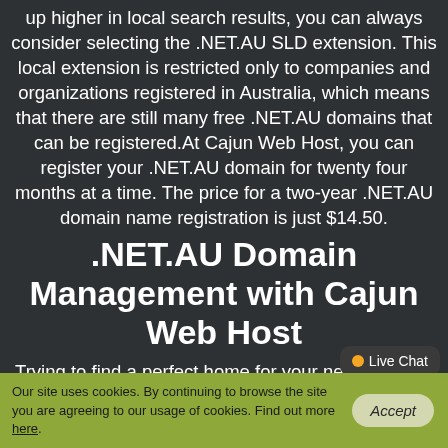up higher in local search results, you can always consider selecting the .NET.AU SLD extension. This local extension is restricted only to companies and organizations registered in Australia, which means that there are still many free .NET.AU domains that can be registered.At Cajun Web Host, you can register your .NET.AU domain for twenty four months at a time. The price for a two-year .NET.AU domain name registration is just $14.50.
.NET.AU Domain Management with Cajun Web Host
Trying to find a perfect home for your new .NET.AU domain name? Take a look at Cajun Web Host's feature-rich, yet incredibly simple to use Domain Manager tool, which can be used by both beginner and experienced users. The crucial DNS options of your domain are just a click away. Furthermore,
Our site uses cookies. By continuing to browse the site you are agreeing to our usage of cookies. Find out more here.